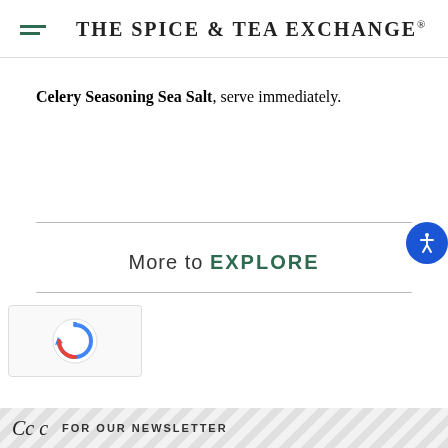THE SPICE & TEA EXCHANGE®
Celery Seasoning Sea Salt, serve immediately.
More to EXPLORE
[Figure (logo): reCAPTCHA logo/widget box]
FOR OUR NEWSLETTER